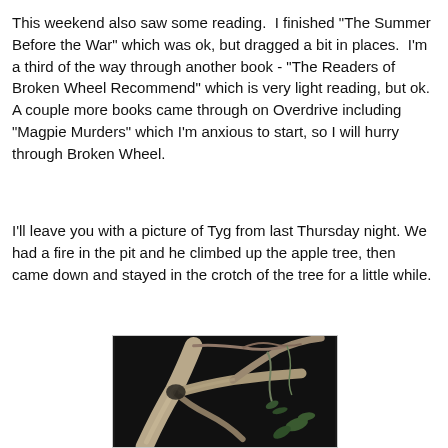This weekend also saw some reading.  I finished "The Summer Before the War" which was ok, but dragged a bit in places.  I'm a third of the way through another book - "The Readers of Broken Wheel Recommend" which is very light reading, but ok.  A couple more books came through on Overdrive including "Magpie Murders" which I'm anxious to start, so I will hurry through Broken Wheel.
I'll leave you with a picture of Tyg from last Thursday night. We had a fire in the pit and he climbed up the apple tree, then came down and stayed in the crotch of the tree for a little while.
[Figure (photo): A nighttime photograph showing the crotch of an apple tree with branches and vines visible against a dark background.]